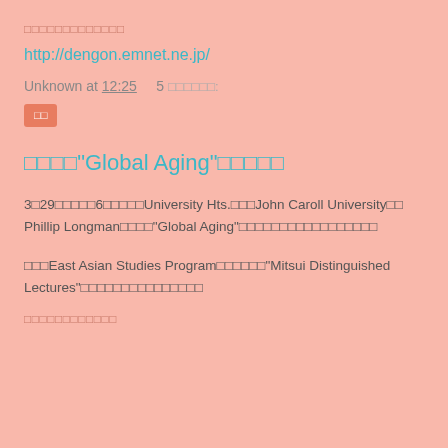□□□□□□□□□□□□□
http://dengon.emnet.ne.jp/
Unknown at 12:25    5 □□□□□□:
□□
□□□□"Global Aging"□□□□□
3□29□□□□□6□□□□□University Hts.□□□John Caroll University□□Phillip Longman□□□□"Global Aging"□□□□□□□□□□□□□□□□□
□□□East Asian Studies Program□□□□□□"Mitsui Distinguished Lectures"□□□□□□□□□□□□□□□
□□□□□□□□□□□□